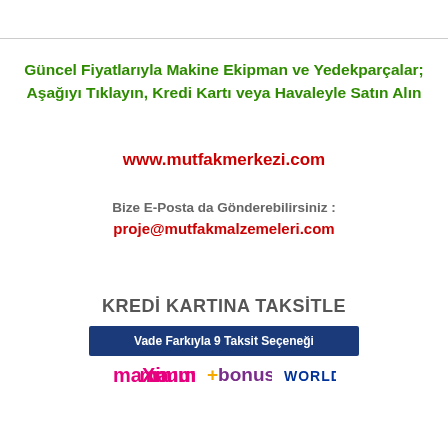Güncel Fiyatlarıyla Makine Ekipman ve Yedekparçalar; Aşağıyı Tıklayın, Kredi Kartı veya Havaleyle Satın Alın
www.mutfakmerkezi.com
Bize E-Posta da Gönderebilirsiniz :
proje@mutfakmalzemeleri.com
KREDİ KARTINA TAKSİTLE
[Figure (infographic): Dark blue banner reading 'Vade Farkıyla 9 Taksit Seçeneği', with credit card brand logos: maximum, +bonus, WORLD]